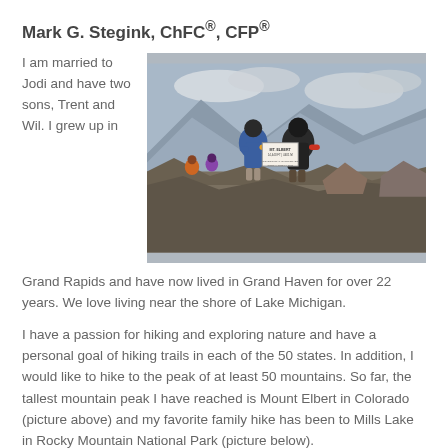Mark G. Stegink, ChFC®, CFP®
[Figure (photo): Two people standing on a mountain peak holding a summit sign for Mount Elbert, Colorado, with mountain scenery in the background.]
I am married to Jodi and have two sons, Trent and Wil. I grew up in Grand Rapids and have now lived in Grand Haven for over 22 years. We love living near the shore of Lake Michigan.
I have a passion for hiking and exploring nature and have a personal goal of hiking trails in each of the 50 states. In addition, I would like to hike to the peak of at least 50 mountains. So far, the tallest mountain peak I have reached is Mount Elbert in Colorado (picture above) and my favorite family hike has been to Mills Lake in Rocky Mountain National Park (picture below).